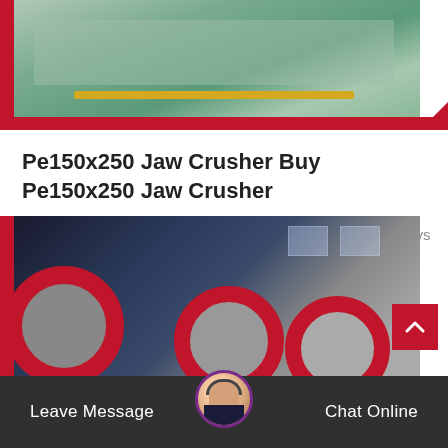[Figure (photo): Top partial image of industrial equipment/stone crushing machinery on green factory floor with yellow stripe, framed with red border on left and bottom]
Pe150x250 Jaw Crusher Buy Pe150x250 Jaw Crusher
As the first process of stone crushing line, jaw crusher always plays important role. this machine...
Read More
[Figure (photo): Bottom partial image of industrial jaw crusher machinery with large red-rimmed wheels/flywheels in a factory warehouse setting, with back-to-top button overlay]
Leave Message   Chat Online